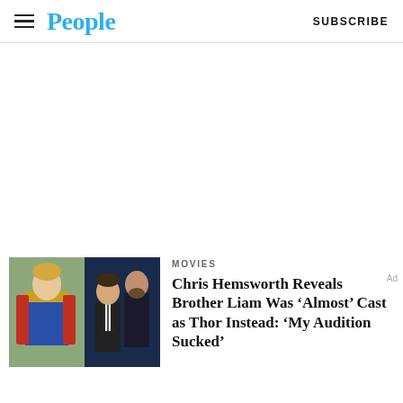People | SUBSCRIBE
[Figure (other): Advertisement placeholder area (blank white space)]
[Figure (photo): Composite image: Chris Hemsworth as Thor in costume on the left, Liam Hemsworth in a suit at center, and Chris Hemsworth as Thor at right in a darker image]
MOVIES
Chris Hemsworth Reveals Brother Liam Was ‘Almost’ Cast as Thor Instead: ‘My Audition Sucked’